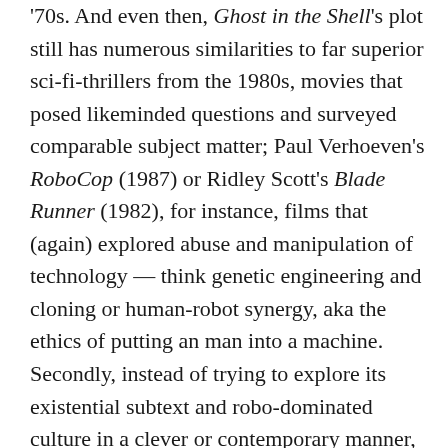'70s. And even then, Ghost in the Shell's plot still has numerous similarities to far superior sci-fi-thrillers from the 1980s, movies that posed likeminded questions and surveyed comparable subject matter; Paul Verhoeven's RoboCop (1987) or Ridley Scott's Blade Runner (1982), for instance, films that (again) explored abuse and manipulation of technology — think genetic engineering and cloning or human-robot synergy, aka the ethics of putting an man into a machine. Secondly, instead of trying to explore its existential subtext and robo-dominated culture in a clever or contemporary manner, the screenplay is overloaded with clunky exposition and predictable story beats, any sort of subtlety literally spelt out for the audience, this revamp coming off as a hollow, 'dumbed-down' effort.